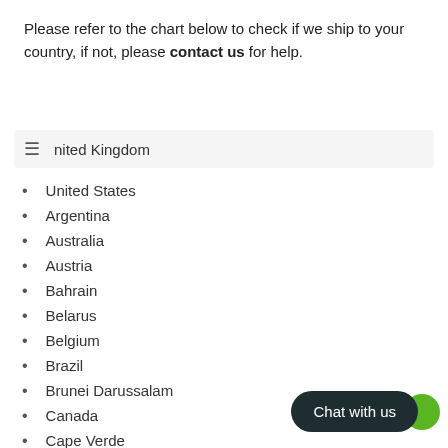Please refer to the chart below to check if we ship to your country, if not, please contact us for help.
United Kingdom
United States
Argentina
Australia
Austria
Bahrain
Belarus
Belgium
Brazil
Brunei Darussalam
Canada
Cape Verde
Chile
Colombia
Cook Islands
Croatia